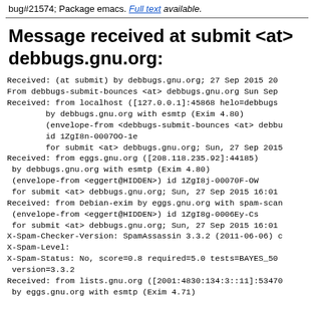bug#21574; Package emacs. Full text available.
Message received at submit <at> debbugs.gnu.org:
Received: (at submit) by debbugs.gnu.org; 27 Sep 2015 20
From debbugs-submit-bounces <at> debbugs.gnu.org Sun Sep
Received: from localhost ([127.0.0.1]:45868 helo=debbugs
        by debbugs.gnu.org with esmtp (Exim 4.80)
        (envelope-from <debbugs-submit-bounces <at> debbu
        id 1ZgI8n-0007OO-1e
        for submit <at> debbugs.gnu.org; Sun, 27 Sep 2015
Received: from eggs.gnu.org ([208.118.235.92]:44185)
 by debbugs.gnu.org with esmtp (Exim 4.80)
 (envelope-from <eggert@HIDDEN>) id 1ZgI8j-00070F-OW
 for submit <at> debbugs.gnu.org; Sun, 27 Sep 2015 16:01
Received: from Debian-exim by eggs.gnu.org with spam-scan
 (envelope-from <eggert@HIDDEN>) id 1ZgI8g-0006Ey-Cs
 for submit <at> debbugs.gnu.org; Sun, 27 Sep 2015 16:01
X-Spam-Checker-Version: SpamAssassin 3.3.2 (2011-06-06) c
X-Spam-Level:
X-Spam-Status: No, score=0.8 required=5.0 tests=BAYES_50
 version=3.3.2
Received: from lists.gnu.org ([2001:4830:134:3::11]:53470
 by eggs.gnu.org with esmtp (Exim 4.71)